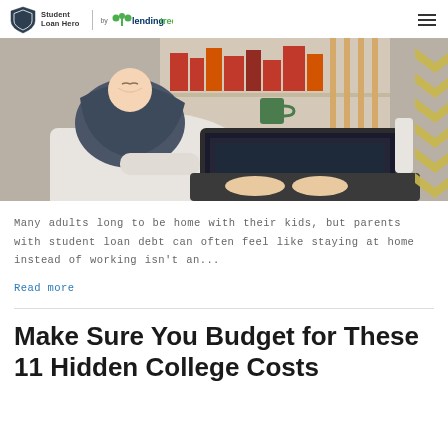Student Loan Hero | LendingTree
[Figure (photo): Person wearing a baby in a carrier sling while typing on a laptop at a desk, with bookshelves in the background and a yellow chevron pattern decorative element on the right side.]
Many adults long to be home with their kids, but parents with student loan debt can often feel like staying at home instead of working isn't an...
Read more
Make Sure You Budget for These 11 Hidden College Costs